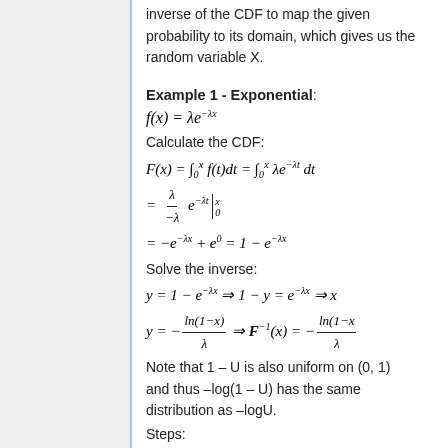inverse of the CDF to map the given probability to its domain, which gives us the random variable X.
Example 1 - Exponential:
Calculate the CDF:
Solve the inverse:
Note that 1 – U is also uniform on (0, 1) and thus –log(1 – U) has the same distribution as –logU.
Steps:
Step 1: Draw U ~U[0,1];